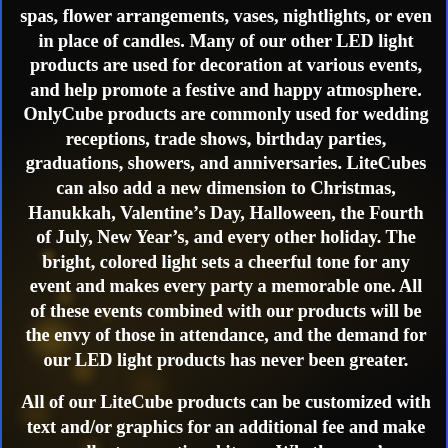spas, flower arrangements, vases, nightlights, or even in place of candles. Many of our other LED light products are used for decoration at various events, and help promote a festive and happy atmosphere. OnlyCube products are commonly used for wedding receptions, trade shows, birthday parties, graduations, showers, and anniversaries. LiteCubes can also add a new dimension to Christmas, Hanukkah, Valentine's Day, Halloween, the Fourth of July, New Year's, and every other holiday. The bright, colored light sets a cheerful tone for any event and makes every party a memorable one. All of these events combined with our products will be the envy of those in attendance, and the demand for our LED light products has never been greater.
All of our LiteCube products can be customized with text and/or graphics for an additional fee and make excellent promotional items. Whether you're